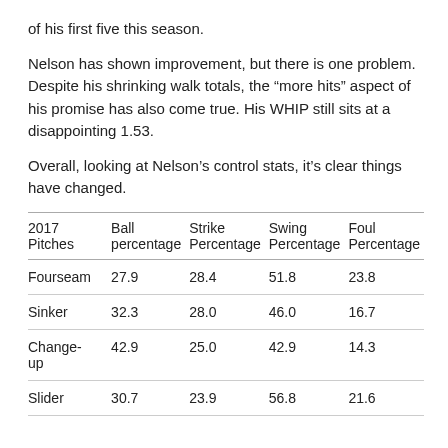of his first five this season.
Nelson has shown improvement, but there is one problem. Despite his shrinking walk totals, the “more hits” aspect of his promise has also come true. His WHIP still sits at a disappointing 1.53.
Overall, looking at Nelson’s control stats, it’s clear things have changed.
| 2017 Pitches | Ball percentage | Strike Percentage | Swing Percentage | Foul Percentage |
| --- | --- | --- | --- | --- |
| Fourseam | 27.9 | 28.4 | 51.8 | 23.8 |
| Sinker | 32.3 | 28.0 | 46.0 | 16.7 |
| Change-up | 42.9 | 25.0 | 42.9 | 14.3 |
| Slider | 30.7 | 23.9 | 56.8 | 21.6 |